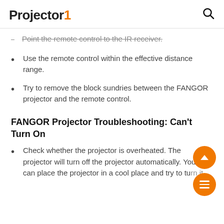Projector1 [search icon]
Point the remote control to the IR receiver.
Use the remote control within the effective distance range.
Try to remove the block sundries between the FANGOR projector and the remote control.
FANGOR Projector Troubleshooting: Can't Turn On
Check whether the projector is overheated. The projector will turn off the projector automatically. You can place the projector in a cool place and try to turn it on again later.